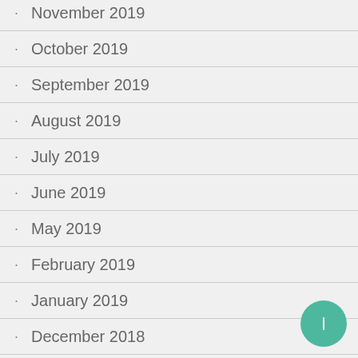November 2019
October 2019
September 2019
August 2019
July 2019
June 2019
May 2019
February 2019
January 2019
December 2018
November 2018